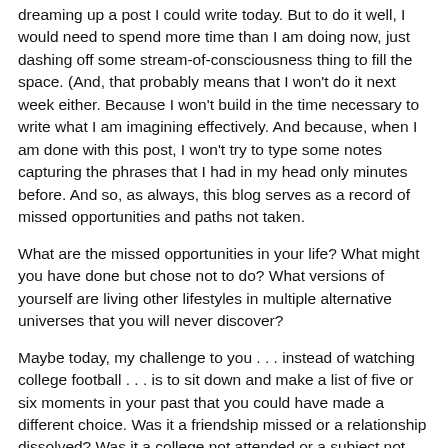dreaming up a post I could write today. But to do it well, I would need to spend more time than I am doing now, just dashing off some stream-of-consciousness thing to fill the space. (And, that probably means that I won't do it next week either. Because I won't build in the time necessary to write what I am imagining effectively. And because, when I am done with this post, I won't try to type some notes capturing the phrases that I had in my head only minutes before. And so, as always, this blog serves as a record of missed opportunities and paths not taken.
What are the missed opportunities in your life? What might you have done but chose not to do? What versions of yourself are living other lifestyles in multiple alternative universes that you will never discover?
Maybe today, my challenge to you . . . instead of watching college football . . . is to sit down and make a list of five or six moments in your past that you could have made a different choice. Was it a friendship missed or a relationship dissolved? Was it a college not attended or a subject not studied? Was it a job left hanging?